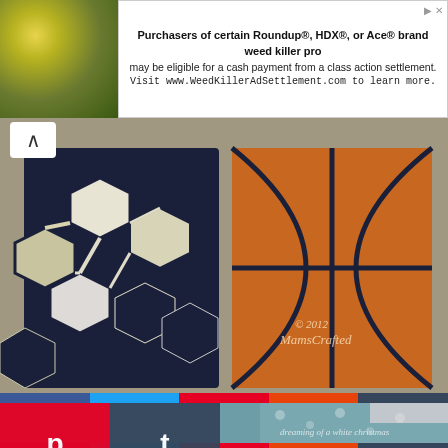[Figure (screenshot): Advertisement banner: yellow flower plant photo on left, text on right: 'Purchasers of certain Roundup®, HDX®, or Ace® brand weed killer products may be eligible for a cash payment from a class action settlement. Visit www.WeedKillerAdSettlement.com to learn more.']
[Figure (photo): Close-up photo of two hand-painted wooden boards: left board shows a navy blue and white soccer ball pattern, right board shows an orange basketball pattern with dark navy lines. Copyright watermark '© 2012 MamsCrafted' visible on basketball board.]
[Figure (screenshot): Partial view of a second photo showing a teal/blue fabric or painted background with small dot motifs and partial text 'dreaming of a white christmas'. Pinterest and Tumblr share buttons overlay the left side.]
[Figure (infographic): Social sharing bar at bottom with five buttons: Facebook (dark blue), Twitter (light blue), Pinterest (red), StumbleUpon (orange-red), Tumblr (dark blue-grey).]